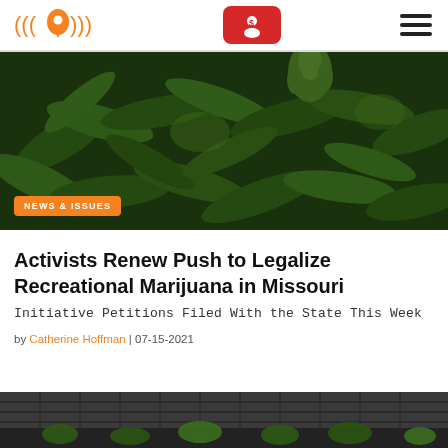Navigation header with logo, red account button, and hamburger menu
[Figure (photo): Close-up photo of cannabis/marijuana plants with dense green foliage and buds]
NEWS & ISSUES
Activists Renew Push to Legalize Recreational Marijuana in Missouri
Initiative Petitions Filed With the State This Week
by Catherine Hoffman | 07-15-2021
[Figure (photo): Partial photo at bottom of page showing plants near a surface, cut off]